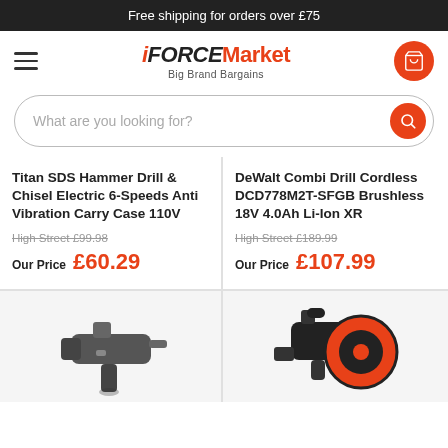Free shipping for orders over £75
[Figure (logo): iFORCEMarket — Big Brand Bargains logo with hamburger menu and cart button]
What are you looking for?
Titan SDS Hammer Drill & Chisel Electric 6-Speeds Anti Vibration Carry Case 110V
High Street £99.98
Our Price £60.29
DeWalt Combi Drill Cordless DCD778M2T-SFGB Brushless 18V 4.0Ah Li-Ion XR
High Street £189.99
Our Price £107.99
[Figure (photo): Titan SDS Hammer Drill product image]
[Figure (photo): Chainsaw or circular saw product image (orange and black)]